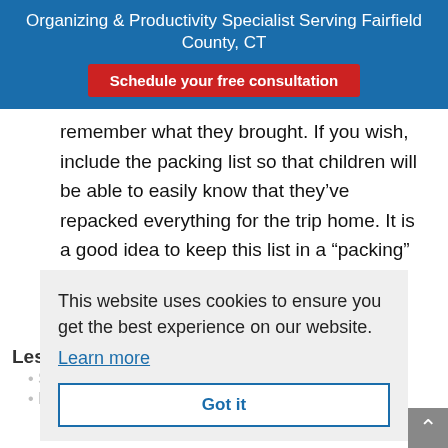Organizing & Productivity Specialist Serving Fairfield County, CT
Schedule your free consultation
remember what they brought. If you wish, include the packing list so that children will be able to easily know that they've repacked everything for the trip home. It is a good idea to keep this list in a “packing” folder on your computer.
This website uses cookies to ensure you get the best experience on our website.
Learn more
Got it
Less: Is M
Start with the Camp's Suggested Packing List
Don't send items that camp says to leave at (e.g. cell phones, video games) as they may be